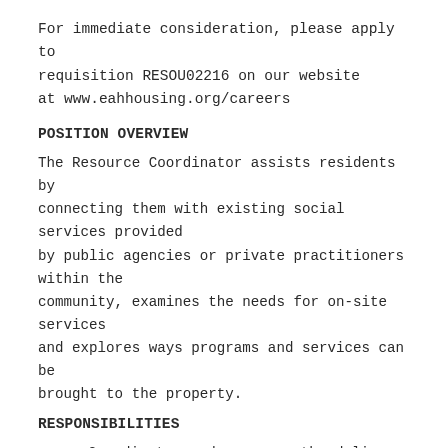For immediate consideration, please apply to requisition RESOU02216 on our website at www.eahhousing.org/careers
POSITION OVERVIEW
The Resource Coordinator assists residents by connecting them with existing social services provided by public agencies or private practitioners within the community, examines the needs for on-site services and explores ways programs and services can be brought to the property.
RESPONSIBILITIES
Coordinates and oversees the delivery of services and program activities to residents both on and off-site.
Utilizes intake survey/needs assessments to